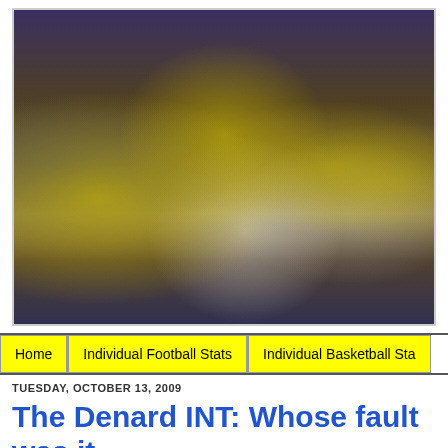[Figure (photo): Michigan Wolverines football players in yellow and navy helmets and white jerseys (numbers 9 and 82 visible) lined up close together on the field]
Home | Individual Football Stats | Individual Basketball Sta
TUESDAY, OCTOBER 13, 2009
The Denard INT: Whose fault was it